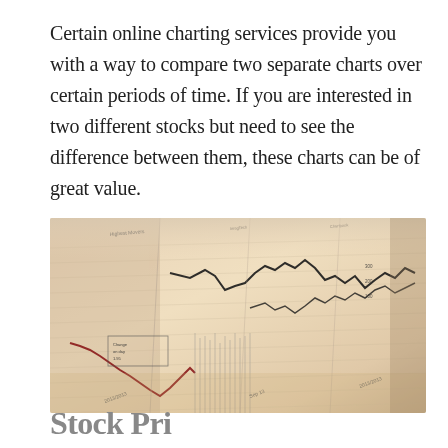Certain online charting services provide you with a way to compare two separate charts over certain periods of time. If you are interested in two different stocks but need to see the difference between them, these charts can be of great value.
[Figure (photo): A close-up photograph of a financial newspaper showing stock market charts and data tables with line graphs, printed in black and red ink on white paper, shot at an angle.]
Stock Pri...